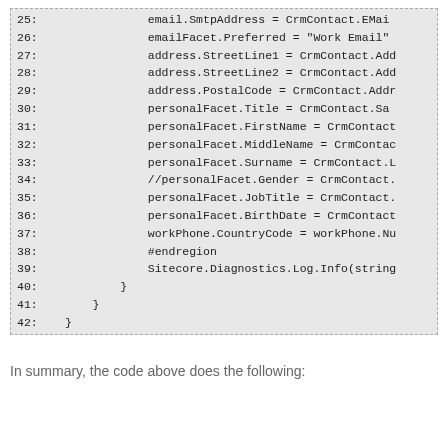[Figure (screenshot): Code block showing lines 25–42 of a C# or similar code snippet with line numbers on the left. Lines include property assignments like email.SmtpAddress, emailFacet.Preferred, address.StreetLine1/2, address.PostalCode, personalFacet fields (Title, FirstName, MiddleName, Surname, Gender commented out, JobTitle, BirthDate), workPhone.CountryCode, #endregion, Sitecore.Diagnostics.Log.Info call, and closing braces.]
In summary, the code above does the following: